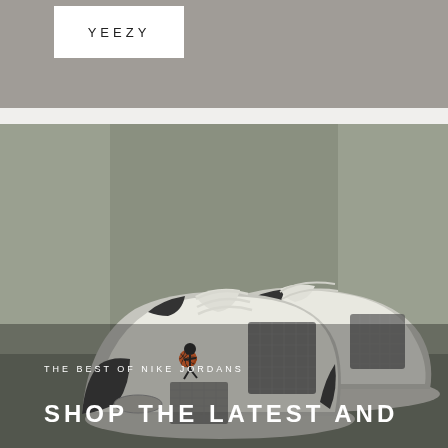[Figure (logo): YEEZY brand logo in a white rectangular box on a gray background banner]
[Figure (photo): Air Jordan 4 sneakers in white and black colorway, two shoes displayed against a gray wall background, with text overlay: THE BEST OF NIKE JORDANS and SHOP THE LATEST AND]
THE BEST OF NIKE JORDANS
SHOP THE LATEST AND